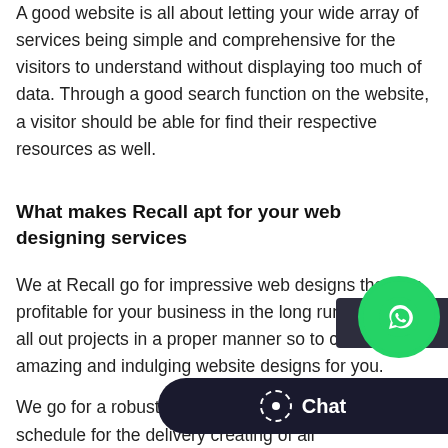A good website is all about letting your wide array of services being simple and comprehensive for the visitors to understand without displaying too much of data. Through a good search function on the website, a visitor should be able for find their respective resources as well.
What makes Recall apt for your web designing services
We at Recall go for impressive web designs that can profitable for your business in the long run. We plan all out projects in a proper manner so to create amazing and indulging website designs for you.
We go for a robust planning for the web a time bound schedule for the delivery creating of all